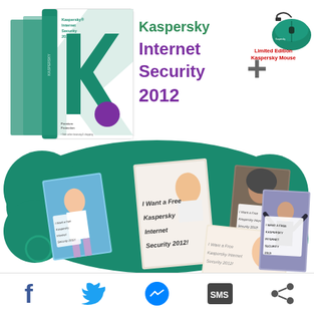[Figure (illustration): Kaspersky Internet Security 2012 product box and Kaspersky branded mouse with photo collage of people holding signs saying 'I Want a Free Kaspersky Internet Security 2012!' on teal background]
Kaspersky Internet Security 2012
Limited Edition Kaspersky Mouse
[Figure (infographic): Social sharing icons: Facebook, Twitter, Messenger, SMS, Share]